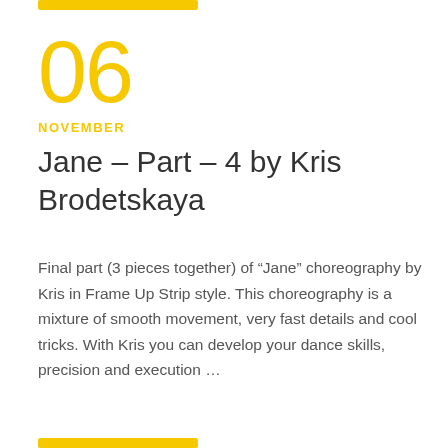06
NOVEMBER
Jane – Part – 4 by Kris Brodetskaya
Final part (3 pieces together) of “Jane” choreography by Kris in Frame Up Strip style. This choreography is a mixture of smooth movement, very fast details and cool tricks. With Kris you can develop your dance skills, precision and execution …